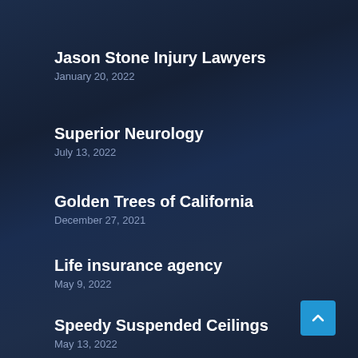Jason Stone Injury Lawyers
January 20, 2022
Superior Neurology
July 13, 2022
Golden Trees of California
December 27, 2021
Life insurance agency
May 9, 2022
Speedy Suspended Ceilings
May 13, 2022